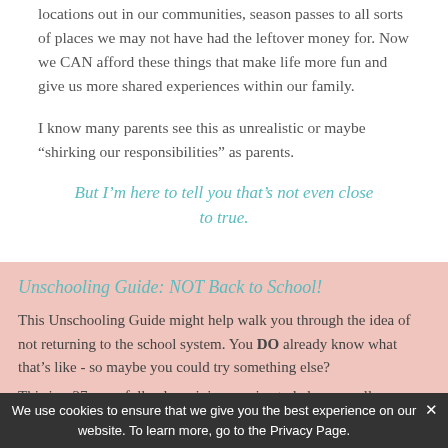locations out in our communities, season passes to all sorts of places we may not have had the leftover money for. Now we CAN afford these things that make life more fun and give us more shared experiences within our family.
I know many parents see this as unrealistic or maybe “shirking our responsibilities” as parents.
But I’m here to tell you that’s not even close to true.
Unschooling Guide: NOT Back to School!
This Unschooling Guide might help walk you through the idea of not returning to the school system. You DO already know what that’s like - so maybe you could try something else?
This is a 27-page full color mini-magazine to help you pull
We use cookies to ensure that we give you the best experience on our website. To learn more, go to the Privacy Page.